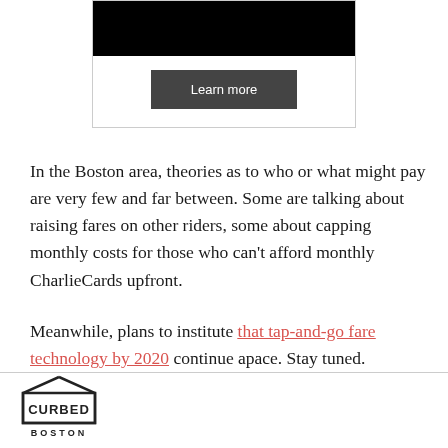[Figure (other): Advertisement box with black image area at top and a dark gray 'Learn more' button below]
In the Boston area, theories as to who or what might pay are very few and far between. Some are talking about raising fares on other riders, some about capping monthly costs for those who can't afford monthly CharlieCards upfront.
Meanwhile, plans to institute that tap-and-go fare technology by 2020 continue apace. Stay tuned.
[Figure (logo): Curbed Boston logo — house-shaped icon with CURBED text inside a box and BOSTON text below]